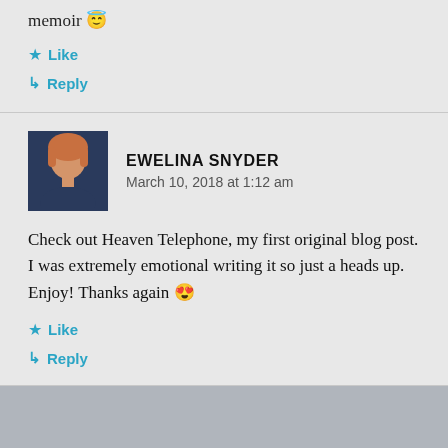memoir 😌
★ Like
↪ Reply
EWELINA SNYDER
March 10, 2018 at 1:12 am
Check out Heaven Telephone, my first original blog post. I was extremely emotional writing it so just a heads up. Enjoy! Thanks again 😍
★ Like
↪ Reply